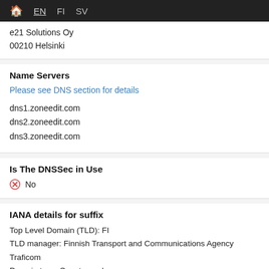🏠 EN FI SV
e21 Solutions Oy
00210 Helsinki
Name Servers
Please see DNS section for details
dns1.zoneedit.com
dns2.zoneedit.com
dns3.zoneedit.com
Is The DNSSec in Use
No
IANA details for suffix
Top Level Domain (TLD): FI
TLD manager: Finnish Transport and Communications Agency Traficom
Domain type: Country-code
Details